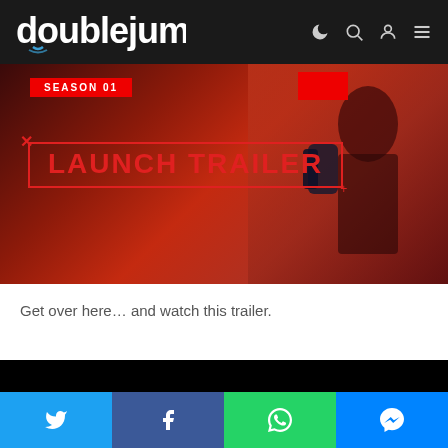doublejump (logo with navigation icons)
[Figure (screenshot): Hero banner image showing 'LAUNCH TRAILER' text in red on dark red background with character silhouette on the right. A small red banner with 'SEASON 01' text at the top left.]
Get over here… and watch this trailer.
[Figure (other): Black video player placeholder area]
Social share buttons: Twitter, Facebook, WhatsApp, Messenger